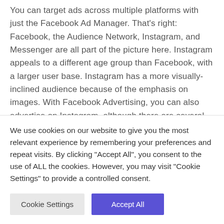You can target ads across multiple platforms with just the Facebook Ad Manager. That's right: Facebook, the Audience Network, Instagram, and Messenger are all part of the picture here. Instagram appeals to a different age group than Facebook, with a larger user base. Instagram has a more visually-inclined audience because of the emphasis on images. With Facebook Advertising, you can also advertise on Instagram, although there are several key differences in how posts and ads work without the hassle of signing up for a new platform and starting over.
We use cookies on our website to give you the most relevant experience by remembering your preferences and repeat visits. By clicking "Accept All", you consent to the use of ALL the cookies. However, you may visit "Cookie Settings" to provide a controlled consent.